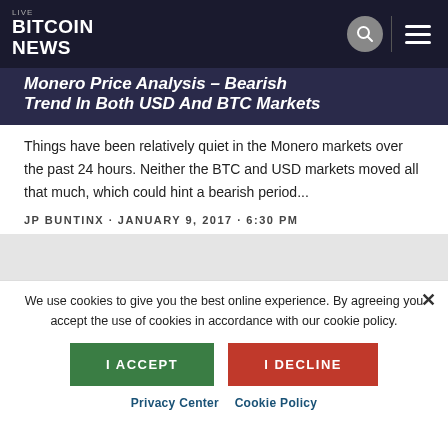LIVE BITCOIN NEWS
Monero Price Analysis – Bearish Trend In Both USD And BTC Markets
Things have been relatively quiet in the Monero markets over the past 24 hours. Neither the BTC and USD markets moved all that much, which could hint a bearish period...
JP BUNTINX · JANUARY 9, 2017 · 6:30 PM
We use cookies to give you the best online experience. By agreeing you accept the use of cookies in accordance with our cookie policy.
I ACCEPT
I DECLINE
Privacy Center   Cookie Policy